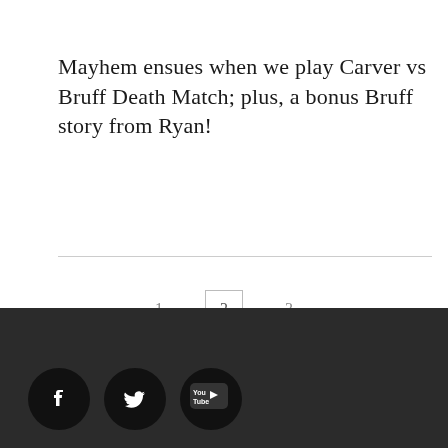Mayhem ensues when we play Carver vs Bruff Death Match; plus, a bonus Bruff story from Ryan!
Social media footer with Facebook, Twitter, and YouTube icons